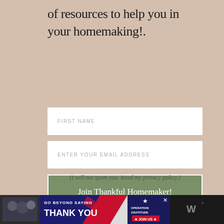of resources to help you in your homemaking!.
[Figure (other): Email signup form with First Name field, Enter Your Email Address field, and a green 'Join Thankful Homemaker!' button]
(I will not spam you. Read my privacy policy.)
[Figure (other): Operation Gratitude advertisement banner with 'Go Beyond Saying Thank You' text and 'Join Us' button, with a close button and W logo]